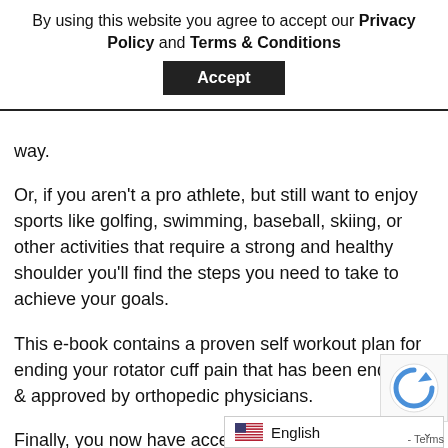By using this website you agree to accept our Privacy Policy and Terms & Conditions
Accept
way.
Or, if you aren't a pro athlete, but still want to enjoy sports like golfing, swimming, baseball, skiing, or other activities that require a strong and healthy shoulder you'll find the steps you need to take to achieve your goals.
This e-book contains a proven self workout plan for ending your rotator cuff pain that has been endorsed & approved by orthopedic physicians.
Finally, you now have access to a no-nonsense, easy to follow training program design